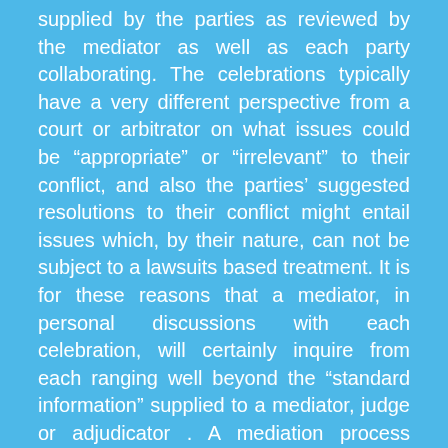supplied by the parties as reviewed by the mediator as well as each party collaborating. The celebrations typically have a very different perspective from a court or arbitrator on what issues could be “appropriate” or “irrelevant” to their conflict, and also the parties’ suggested resolutions to their conflict might entail issues which, by their nature, can not be subject to a lawsuits based treatment. It is for these reasons that a mediator, in personal discussions with each celebration, will certainly inquire from each ranging well beyond the “standard information” supplied to a mediator, judge or adjudicator . A mediation process inquires not just regarding the definition of the dispute between the events, yet also, using instance, the background of each of